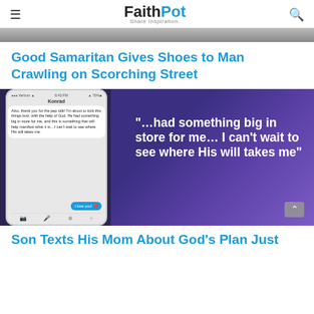FaithPot — Share Inspiration
[Figure (photo): Top partial image strip showing a grey/dark surface, cropped at top of page]
Good Samaritan Gives Shoes to Man Crawling on Scorching Street
[Figure (photo): Image of a smartphone showing iMessage text conversation alongside a football player in a purple/blue helmet and uniform. Overlay quote: '...had something big in store for me... I can't wait to see where His will takes me']
Son Texts His Mom About God's Plan Just...